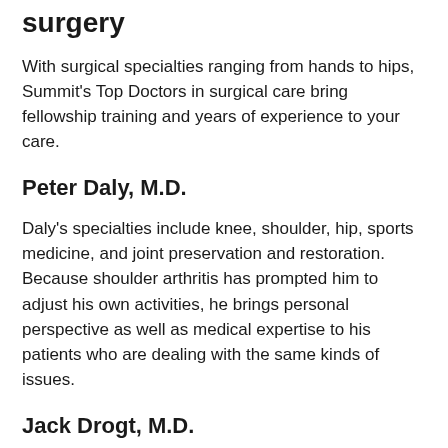surgery
With surgical specialties ranging from hands to hips, Summit's Top Doctors in surgical care bring fellowship training and years of experience to your care.
Peter Daly, M.D.
Daly's specialties include knee, shoulder, hip, sports medicine, and joint preservation and restoration. Because shoulder arthritis has prompted him to adjust his own activities, he brings personal perspective as well as medical expertise to his patients who are dealing with the same kinds of issues.
Jack Drogt, M.D.
Drogt's specialties include knee, hip, joint preservation and restoration, arthroscopy, and knee and hip arthritis. His expertise lies in knee and hip reconstruction. Dr. Drogt is attentive to each patient's goals and works with them to